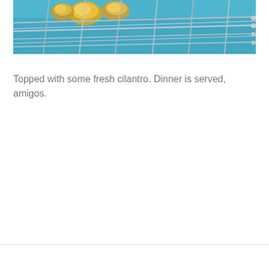[Figure (photo): Close-up photo of food on a metal grill rack over a teal/turquoise background. Yellowish food pieces are skewered and resting on stainless steel grill grates.]
Topped with some fresh cilantro. Dinner is served, amigos.